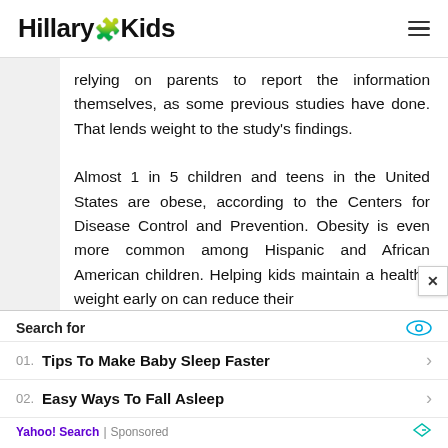HillaryKids
relying on parents to report the information themselves, as some previous studies have done. That lends weight to the study's findings.

Almost 1 in 5 children and teens in the United States are obese, according to the Centers for Disease Control and Prevention. Obesity is even more common among Hispanic and African American children. Helping kids maintain a healthy weight early on can reduce their
Search for
01. Tips To Make Baby Sleep Faster
02. Easy Ways To Fall Asleep
Yahoo! Search | Sponsored